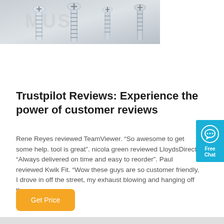[Figure (photo): Photo of silver/chrome screws standing upright on a light background, with a faint watermark text in the background.]
Trustpilot Reviews: Experience the power of customer reviews
Rene Reyes reviewed TeamViewer. “So awesome to get some help. tool is great”. nicola green reviewed LloydsDirect. “Always delivered on time and easy to reorder”. Paul reviewed Kwik Fit. “Wow these guys are so customer friendly, I drove in off the street, my exhaust blowing and hanging off the car.
[Figure (other): Free Chat widget button in cyan/blue color with a speech bubble icon, positioned on the right side.]